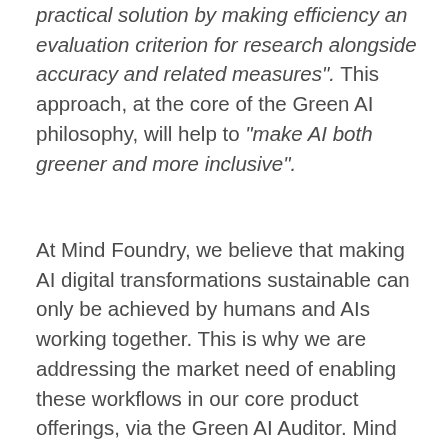practical solution by making efficiency an evaluation criterion for research alongside accuracy and related measures". This approach, at the core of the Green AI philosophy, will help to "make AI both greener and more inclusive".
At Mind Foundry, we believe that making AI digital transformations sustainable can only be achieved by humans and AIs working together. This is why we are addressing the market need of enabling these workflows in our core product offerings, via the Green AI Auditor. Mind Foundry is committed to enabling humans and AI to work together to address the problems that impact people's lives at scale, to enact positive change, and the Green AI Auditor will bring to our platform the capability to enable our users to predict, monitor and mitigate their carbon-footprint,